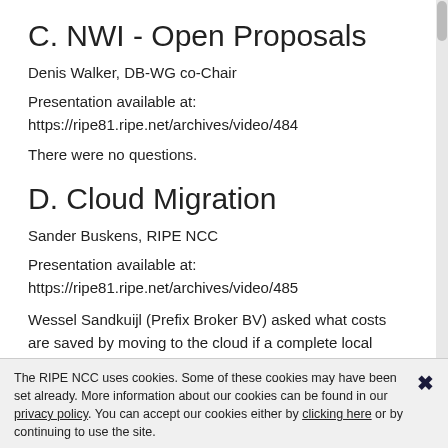C. NWI - Open Proposals
Denis Walker, DB-WG co-Chair
Presentation available at:
https://ripe81.ripe.net/archives/video/484
There were no questions.
D. Cloud Migration
Sander Buskens, RIPE NCC
Presentation available at:
https://ripe81.ripe.net/archives/video/485
Wessel Sandkuijl (Prefix Broker BV) asked what costs are saved by moving to the cloud if a complete local
The RIPE NCC uses cookies. Some of these cookies may have been set already. More information about our cookies can be found in our privacy policy. You can accept our cookies either by clicking here or by continuing to use the site.